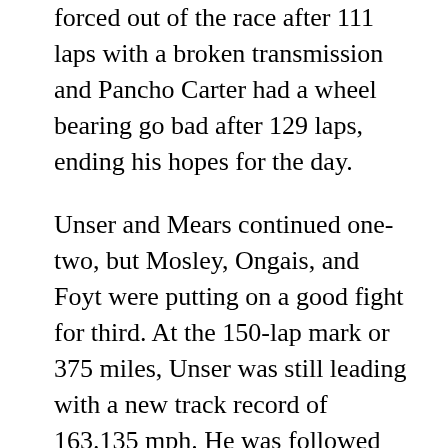forced out of the race after 111 laps with a broken transmission and Pancho Carter had a wheel bearing go bad after 129 laps, ending his hopes for the day.
Unser and Mears continued one-two, but Mosley, Ongais, and Foyt were putting on a good fight for third. At the 150-lap mark or 375 miles, Unser was still leading with a new track record of 163.135 mph. He was followed by Mears, Sneva, Ongais, Foyt, Mosley, Johncock, Holmes, Bagley, and Vukovich.
All of the front runners were making pit stops now, but Unser and Mears were the last ones to do so. Just as they were coming into their